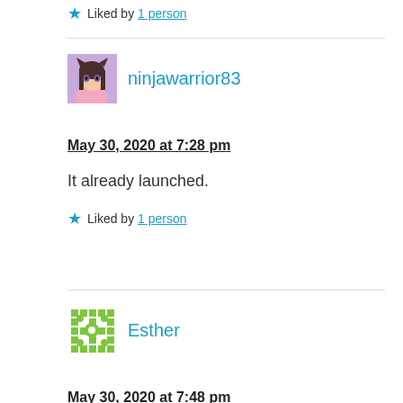★ Liked by 1 person
ninjawarrior83
May 30, 2020 at 7:28 pm
It already launched.
★ Liked by 1 person
Esther
May 30, 2020 at 7:48 pm